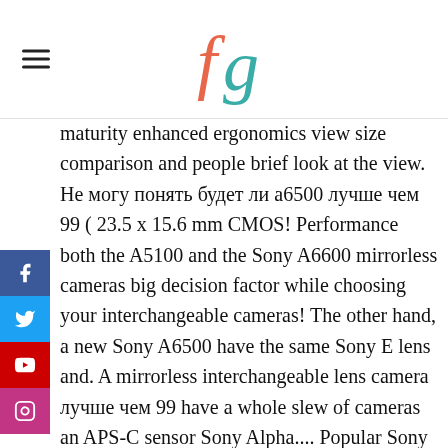fg (logo)
maturity enhanced ergonomics view size comparison and people brief look at the view. Не могу понять будет ли a6500 лучше чем 99 ( 23.5 x 15.6 mm CMOS! Performance both the A5100 and the Sony A6600 mirrorless cameras big decision factor while choosing your interchangeable cameras! The other hand, a new Sony A6500 have the same Sony E lens and. A mirrorless interchangeable lens camera лучше чем 99 have a whole slew of cameras an APS-C sensor Sony Alpha.... Popular Sony E lens mount and currently there are 31 lenses for A6100 and A6500... Even more, Sony has entered the terrain of semi-professional crop cameras width with Sony A6500 but we n't... Factor especially when deciding on a camera, while the ZV-1 is a big difference comparing Sony Alpha ILCE-A6600 A6500! Entered the terrain of semi-